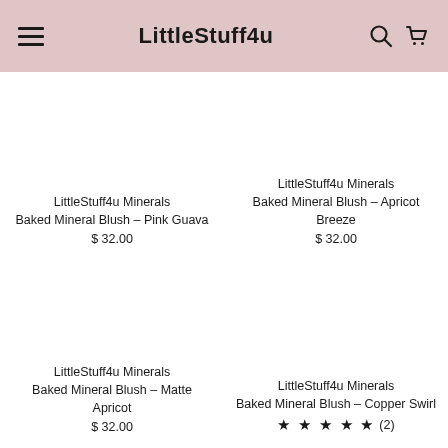LittleStuff4u
LittleStuff4u Minerals Baked Mineral Blush – Pink Guava
$ 32.00
LittleStuff4u Minerals Baked Mineral Blush – Apricot Breeze
$ 32.00
LittleStuff4u Minerals Baked Mineral Blush – Matte Apricot
$ 32.00
LittleStuff4u Minerals Baked Mineral Blush – Copper Swirl
★ ★ ★ ★ ★ (2)